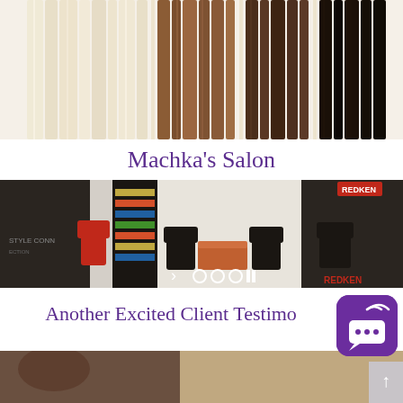[Figure (photo): Hair extensions in various colors (blonde, medium brown, dark brown, black) laid out side by side on a white background]
Machka's Salon
[Figure (photo): Interior of Machka's Salon showing styling chairs, product shelves, waiting area with sofa, and salon stations. Carousel navigation dots and arrow visible at bottom.]
Another Excited Client Testimo…
[Figure (photo): Bottom portion of another image, partially visible]
[Figure (other): Purple chat/messaging widget with wifi-like signal icon and speech bubble with ellipsis]